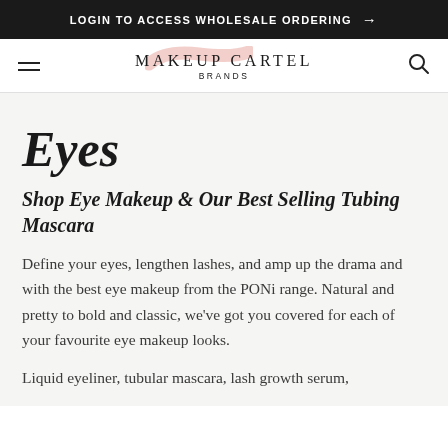LOGIN TO ACCESS WHOLESALE ORDERING →
[Figure (logo): Makeup Cartel Brands logo with pink brush stroke behind the text]
Eyes
Shop Eye Makeup & Our Best Selling Tubing Mascara
Define your eyes, lengthen lashes, and amp up the drama and with the best eye makeup from the PONi range. Natural and pretty to bold and classic, we've got you covered for each of your favourite eye makeup looks.
Liquid eyeliner, tubular mascara, lash growth serum,